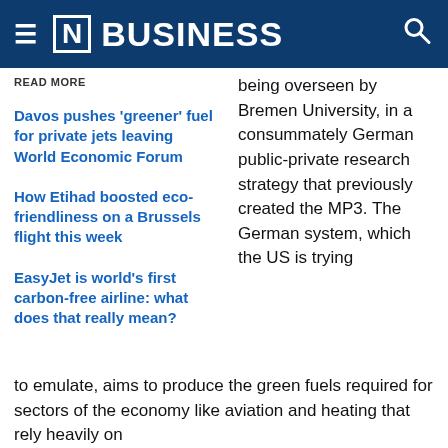[N] BUSINESS
READ MORE
Davos pushes 'greener' fuel for private jets leaving World Economic Forum
How Etihad boosted eco-friendliness on a Brussels flight this week
EasyJet is world's first carbon-free airline: what does that really mean?
being overseen by Bremen University, in a consummately German public-private research strategy that previously created the MP3. The German system, which the US is trying to emulate, aims to produce the green fuels required for sectors of the economy like aviation and heating that rely heavily on